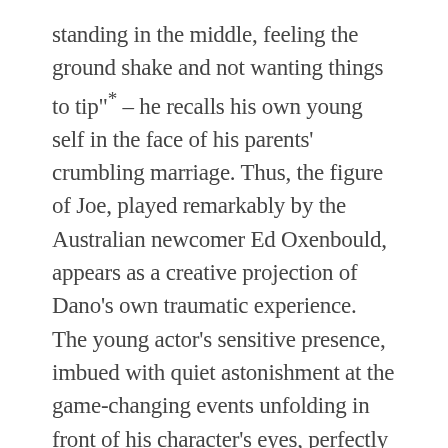standing in the middle, feeling the ground shake and not wanting things to tip"* – he recalls his own young self in the face of his parents' crumbling marriage. Thus, the figure of Joe, played remarkably by the Australian newcomer Ed Oxenbould, appears as a creative projection of Dano's own traumatic experience. The young actor's sensitive presence, imbued with quiet astonishment at the game-changing events unfolding in front of his character's eyes, perfectly conveys the uneasy position of an unwilling partaker forced into the role of an observer. A caring and respectful son, Joe can do nothing more than silently despair at his mother's unpredictable actions stemming from her irrepressible urge to fill the emotional void. Not adhering to current societal norms and adamantly